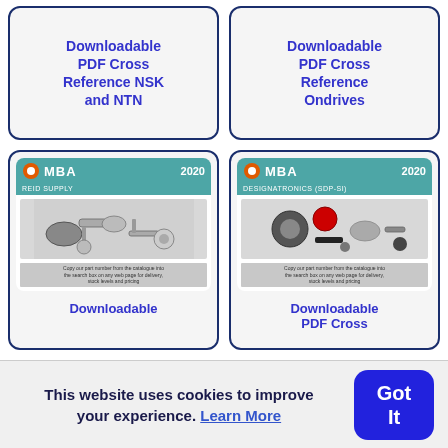[Figure (screenshot): Card with text: Downloadable PDF Cross Reference NSK and NTN]
[Figure (screenshot): Card with text: Downloadable PDF Cross Reference Ondrives]
[Figure (screenshot): MBA 2020 Reid Supply catalog card with mechanical parts image, caption about searching part numbers, and text: Downloadable]
[Figure (screenshot): MBA 2020 Designatronics (SDP-SI) catalog card with hardware parts image, caption about searching part numbers, and text: Downloadable PDF Cross]
This website uses cookies to improve your experience. Learn More
Got It